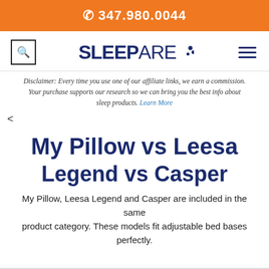📞 347.980.0044
[Figure (logo): Sleepare logo with search icon and hamburger menu]
Disclaimer: Every time you use one of our affiliate links, we earn a commission. Your purchase supports our research so we can bring you the best info about sleep products. Learn More
<
My Pillow vs Leesa Legend vs Casper
My Pillow, Leesa Legend and Casper are included in the same product category. These models fit adjustable bed bases perfectly.